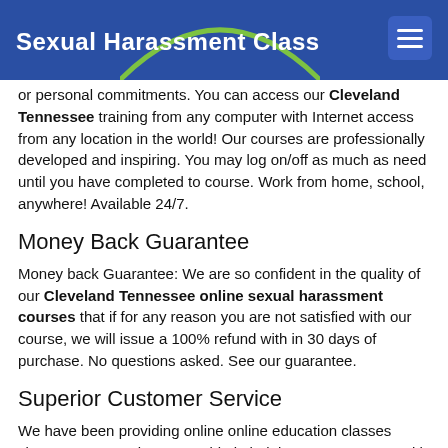Sexual Harassment Class
or personal commitments. You can access our Cleveland Tennessee training from any computer with Internet access from any location in the world! Our courses are professionally developed and inspiring. You may log on/off as much as need until you have completed to course. Work from home, school, anywhere! Available 24/7.
Money Back Guarantee
Money back Guarantee: We are so confident in the quality of our Cleveland Tennessee online sexual harassment courses that if for any reason you are not satisfied with our course, we will issue a 100% refund with in 30 days of purchase. No questions asked. See our guarantee.
Superior Customer Service
We have been providing online online education classes since 2006. We take great pride in helping our customers with any questions, problems or concerns. We can be contacted by phone, email or in person at our corporate office. Customer satisfaction is our main concern.